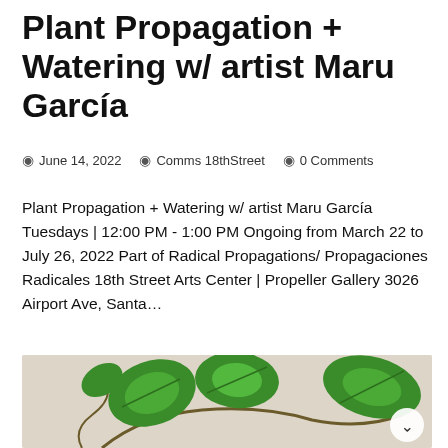Plant Propagation + Watering w/ artist Maru García
June 14, 2022   Comms 18thStreet   0 Comments
Plant Propagation + Watering w/ artist Maru García Tuesdays | 12:00 PM - 1:00 PM Ongoing from March 22 to July 26, 2022 Part of Radical Propagations/ Propagaciones Radicales 18th Street Arts Center | Propeller Gallery 3026 Airport Ave, Santa…
Read more
[Figure (photo): Photo of trailing green plant with heart-shaped leaves on a light beige background, partially visible at bottom of page]